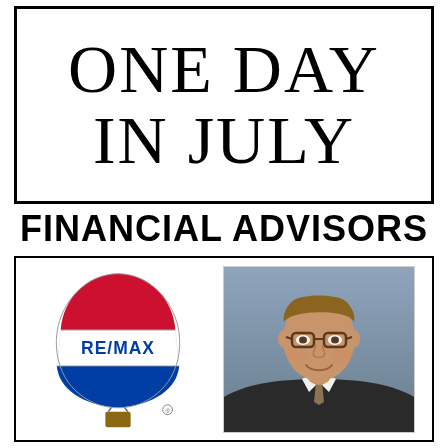ONE DAY IN JULY
FINANCIAL ADVISORS
[Figure (logo): RE/MAX hot air balloon logo with red top, white middle with RE/MAX text, and blue bottom]
[Figure (photo): Professional headshot of a middle-aged man with glasses, wearing a suit and tie, smiling]